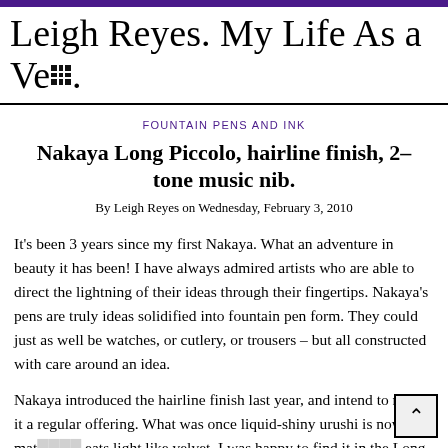Leigh Reyes. My Life As a Ve[rb].
FOUNTAIN PENS AND INK
Nakaya Long Piccolo, hairline finish, 2-tone music nib.
By Leigh Reyes on Wednesday, February 3, 2010
It’s been 3 years since my first Nakaya. What an adventure in beauty it has been! I have always admired artists who are able to direct the lightning of their ideas through their fingertips. Nakaya’s pens are truly ideas solidified into fountain pen form. They could just as well be watches, or cutlery, or trousers – but all constructed with care around an idea.
Nakaya introduced the hairline finish last year, and intend to make it a regular offering. What was once liquid-shiny urushi is now mat[te and] eats light like velvet. I was happy to find it in the Long Piccolo